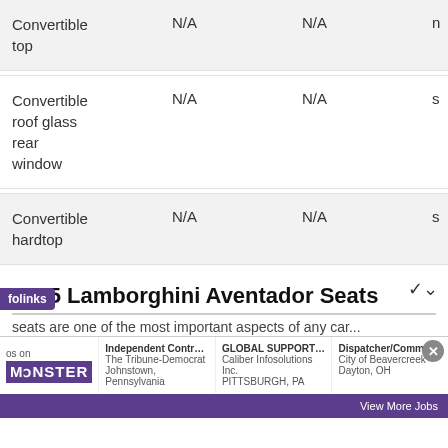| Feature | Col2 | Col3 | Col4 |
| --- | --- | --- | --- |
| Convertible top | N/A | N/A | n |
| Convertible roof glass rear window | N/A | N/A | s |
| Convertible hardtop | N/A | N/A | s |
2015 Lamborghini Aventador Seats
seats are one of the most important aspects of any car...
[Figure (screenshot): Monster.com job advertisement banner showing Independent Contracted C... (The Tribune-Democrat, Johnstown, Pennsylvania), GLOBAL SUPPORT HEA... (Caliber Infosolutions Inc., PITTSBURGH, PA), Dispatcher/Communicatio... (City of Beavercreek, Dayton, OH) with View More Jobs link]